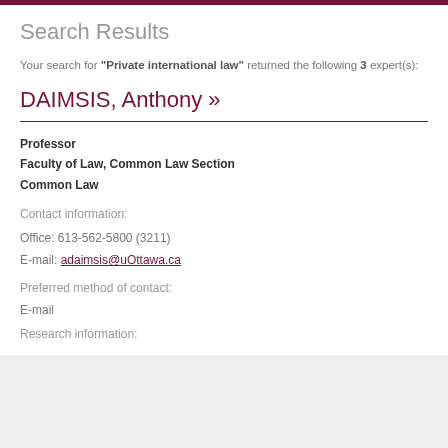Search Results
Your search for "Private international law" returned the following 3 expert(s):
DAIMSIS, Anthony »
Professor
Faculty of Law, Common Law Section
Common Law
Contact information:
Office: 613-562-5800 (3211)
E-mail: adaimsis@uOttawa.ca
Preferred method of contact:
E-mail
Research information: